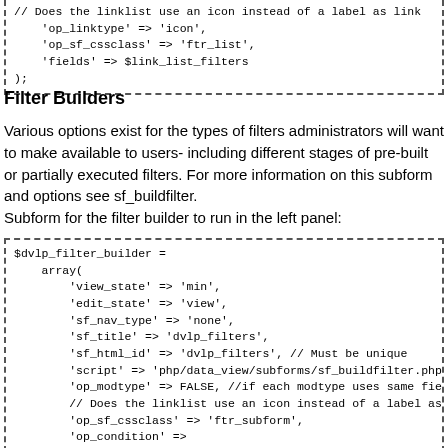[Figure (screenshot): Code block showing PHP array with op_linktype, op_sf_cssclass, and fields keys]
Filter Builders
Various options exist for the types of filters administrators will want to make available to users- including different stages of pre-built or partially executed filters. For more information on this subform and options see sf_buildfilter.
Subform for the filter builder to run in the left panel:
[Figure (screenshot): Code block showing $dvlp_filter_builder PHP array definition with view_state, edit_state, sf_nav_type, sf_title, sf_html_id, script, op_modtype, op_sf_cssclass, op_condition nested array with func and args keys]